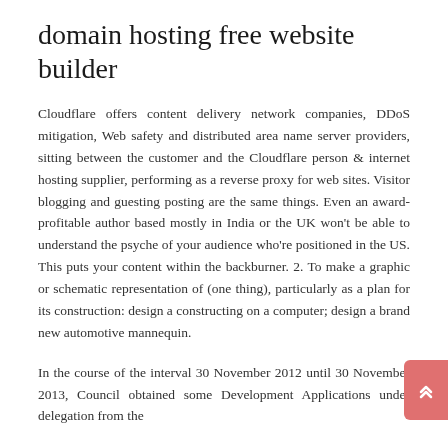domain hosting free website builder
Cloudflare offers content delivery network companies, DDoS mitigation, Web safety and distributed area name server providers, sitting between the customer and the Cloudflare person & internet hosting supplier, performing as a reverse proxy for web sites. Visitor blogging and guesting posting are the same things. Even an award-profitable author based mostly in India or the UK won't be able to understand the psyche of your audience who're positioned in the US. This puts your content within the backburner. 2. To make a graphic or schematic representation of (one thing), particularly as a plan for its construction: design a constructing on a computer; design a brand new automotive mannequin.
In the course of the interval 30 November 2012 until 30 November 2013, Council obtained some Development Applications under delegation from the